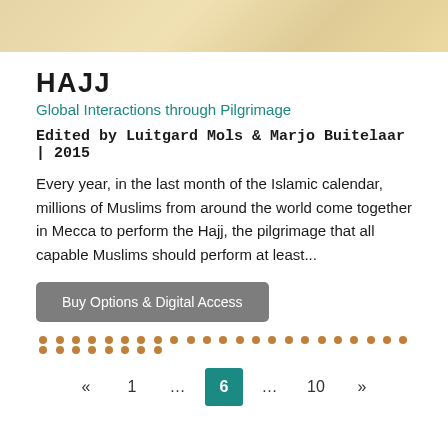[Figure (photo): Top banner image showing book cover or decorative image with warm yellow/golden tones]
HAJJ
Global Interactions through Pilgrimage
Edited by Luitgard Mols & Marjo Buitelaar | 2015
Every year, in the last month of the Islamic calendar, millions of Muslims from around the world come together in Mecca to perform the Hajj, the pilgrimage that all capable Muslims should perform at least...
Buy Options & Digital Access
[Figure (other): Dotted orange/brown divider line]
« 1 … 6 … 10 »